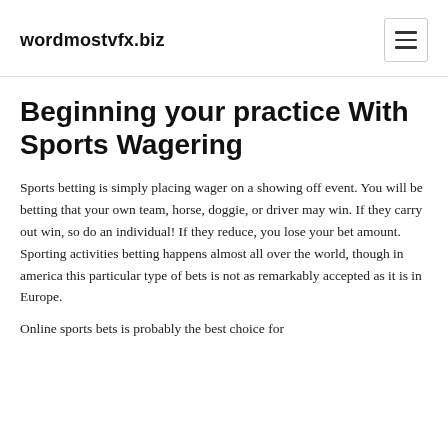wordmostvfx.biz
Beginning your practice With Sports Wagering
Sports betting is simply placing wager on a showing off event. You will be betting that your own team, horse, doggie, or driver may win. If they carry out win, so do an individual! If they reduce, you lose your bet amount. Sporting activities betting happens almost all over the world, though in america this particular type of bets is not as remarkably accepted as it is in Europe.
Online sports bets is probably the best choice for